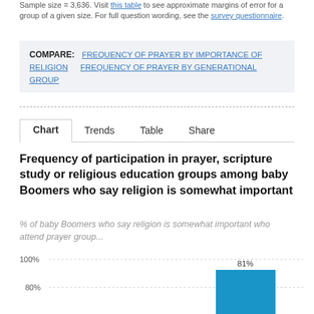Sample size = 3,636. Visit this table to see approximate margins of error for a group of a given size. For full question wording, see the survey questionnaire.
COMPARE: FREQUENCY OF PRAYER BY IMPORTANCE OF RELIGION  FREQUENCY OF PRAYER BY GENERATIONAL GROUP
Chart  Trends  Table  Share
Frequency of participation in prayer, scripture study or religious education groups among baby Boomers who say religion is somewhat important
% of baby Boomers who say religion is somewhat important who attend prayer group...
[Figure (bar-chart): Frequency of participation in prayer, scripture study or religious education groups among baby Boomers who say religion is somewhat important]